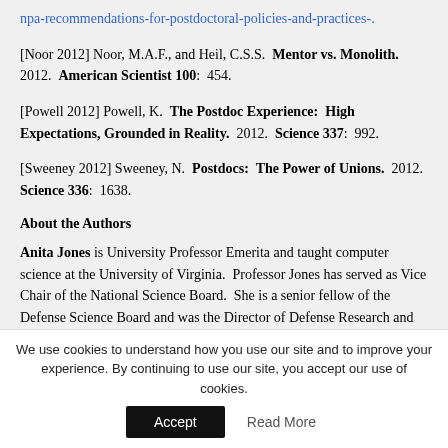npa-recommendations-for-postdoctoral-policies-and-practices-.
[Noor 2012] Noor, M.A.F., and Heil, C.S.S.  Mentor vs. Monolith.  2012.  American Scientist 100:  454.
[Powell 2012] Powell, K.  The Postdoc Experience:  High Expectations, Grounded in Reality.  2012.  Science 337:  992.
[Sweeney 2012] Sweeney, N.  Postdocs:  The Power of Unions.  2012.  Science 336:  1638.
About the Authors
Anita Jones is University Professor Emerita and taught computer science at the University of Virginia.  Professor Jones has served as Vice Chair of the National Science Board.  She is a senior fellow of the Defense Science Board and was the Director of Defense Research and Engineering with oversight of the DoD science and technology program.  Professor Jones is a founding
We use cookies to understand how you use our site and to improve your experience. By continuing to use our site, you accept our use of cookies.